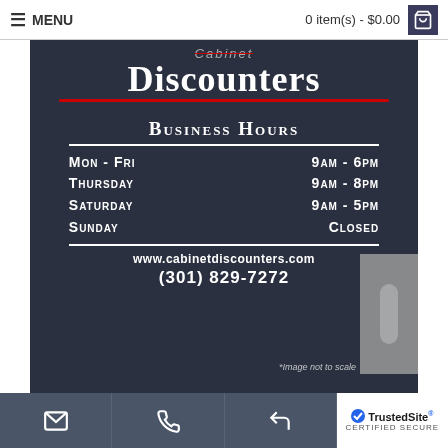MENU   0 item(s) - $0.00
[Figure (photo): Storefront window sign for Cabinet Discounters showing business hours: Mon-Fri 9AM-6PM, Thursday 9AM-8PM, Saturday 9AM-5PM, Sunday Closed, with website www.cabinetdiscounters.com and phone (301) 829-7272. Watermark reads *Image not to scale.]
Two-Color Open Hours with Logo
TrustedSite CERTIFIED SECURE